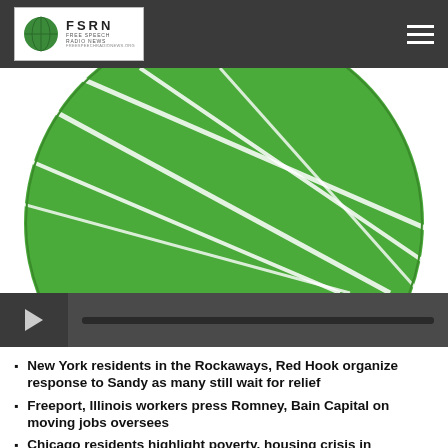FSRN FREE SPEECH RADIO NEWS
[Figure (logo): Large green globe/circle with white curved lines, partial view (top half visible), FSRN logo]
[Figure (other): Audio player bar with play button and progress bar]
New York residents in the Rockaways, Red Hook organize response to Sandy as many still wait for relief
Freeport, Illinois workers press Romney, Bain Capital on moving jobs oversees
Chicago residents highlight poverty, housing crisis in presidential campaign
International team ready to monitor US election in 40 states
California voters to decide on repeal of state's death penalty
Download Audio